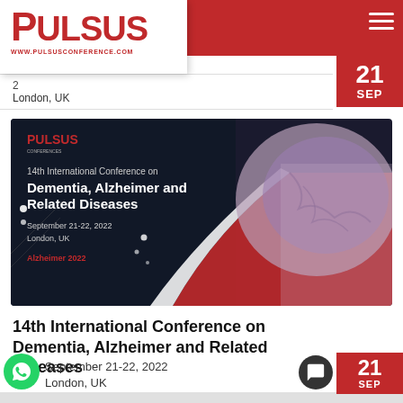[Figure (logo): PULSUS conference logo with red text and website URL www.pulsusconference.com]
21 SEP
London, UK
[Figure (illustration): 14th International Conference on Dementia, Alzheimer and Related Diseases banner image showing dark background with brain anatomy model and conference details: September 21-22, 2022, London, UK, Alzheimer 2022]
14th International Conference on Dementia, Alzheimer and Related Diseases
September 21-22, 2022
London, UK
TimelinesAI